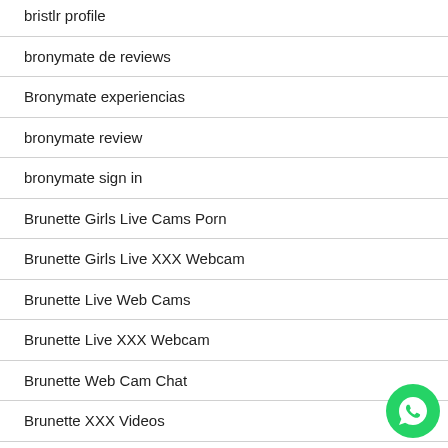bristlr profile
bronymate de reviews
Bronymate experiencias
bronymate review
bronymate sign in
Brunette Girls Live Cams Porn
Brunette Girls Live XXX Webcam
Brunette Live Web Cams
Brunette Live XXX Webcam
Brunette Web Cam Chat
Brunette XXX Videos
Brunette XXX Webcam Chat Rooms
bumble come funziona
[Figure (logo): WhatsApp floating action button (green circle with white phone handset icon)]